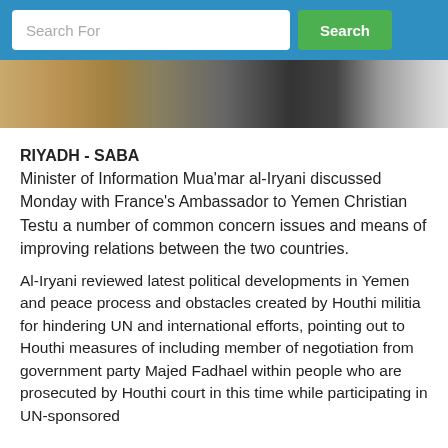Search For | Search
[Figure (photo): Partial photo strip showing people, appears to be a news article header image]
RIYADH - SABA
Minister of Information Mua'mar al-Iryani discussed Monday with France's Ambassador to Yemen Christian Testu a number of common concern issues and means of improving relations between the two countries.
Al-Iryani reviewed latest political developments in Yemen and peace process and obstacles created by Houthi militia for hindering UN and international efforts, pointing out to Houthi measures of including member of negotiation from government party Majed Fadhael within people who are prosecuted by Houthi court in this time while participating in UN-sponsored